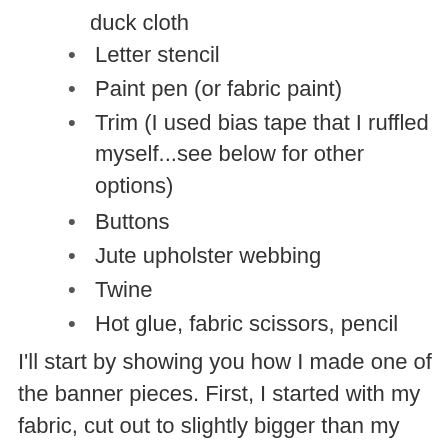duck cloth
Letter stencil
Paint pen (or fabric paint)
Trim (I used bias tape that I ruffled myself...see below for other options)
Buttons
Jute upholster webbing
Twine
Hot glue, fabric scissors, pencil
I'll start by showing you how I made one of the banner pieces. First, I started with my fabric, cut out to slightly bigger than my embroidery hoop (mine are 4 inches in diameter). Then I took a letter stencil I had on hand and filled in the letter with a paint